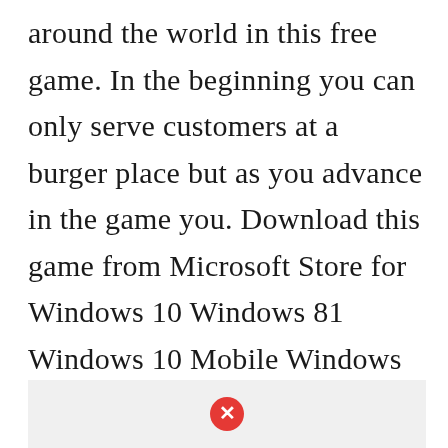around the world in this free game. In the beginning you can only serve customers at a burger place but as you advance in the game you. Download this game from Microsoft Store for Windows 10 Windows 81 Windows 10 Mobile Windows Phone 81 Windows 10 Team Surface Hub HoloLens. Customisation is top-notch – there are a lot of things you can upgrade. Cooking Fever latest version.
[Figure (other): Gray advertisement banner with a red close/dismiss button (circle with X) centered at the bottom of the page]